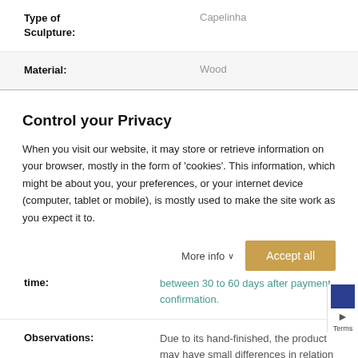| Field | Value |
| --- | --- |
| Type of Sculpture: | Capelinha |
| Material: | Wood |
Control your Privacy
When you visit our website, it may store or retrieve information on your browser, mostly in the form of 'cookies'. This information, which might be about you, your preferences, or your internet device (computer, tablet or mobile), is mostly used to make the site work as you expect it to.
More info  Accept all
| Field | Value |
| --- | --- |
| time: | between 30 to 60 days after payment confirmation. |
| Observations: | Due to its hand-finished, the product may have small differences in relation to the displayed photo. Your monitor settings can also change the color. |